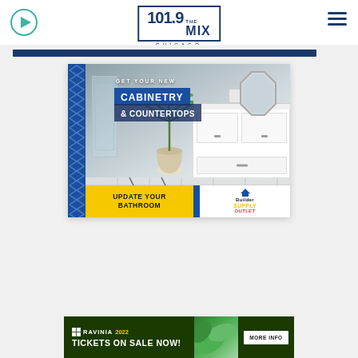[Figure (screenshot): 101.9 The Mix Chicago radio station website header with play button, logo, and hamburger menu]
[Figure (illustration): Builder Supply Outlet advertisement: GET YOUR NEW CABINETRY & COUNTERTOPS - UPDATE YOUR BATHROOM, showing a modern bathroom with white cabinets, plant, and mirror]
[Figure (illustration): Ravinia 2022 advertisement: TICKETS ON SALE NOW! with MORE INFO button, green leaf background]